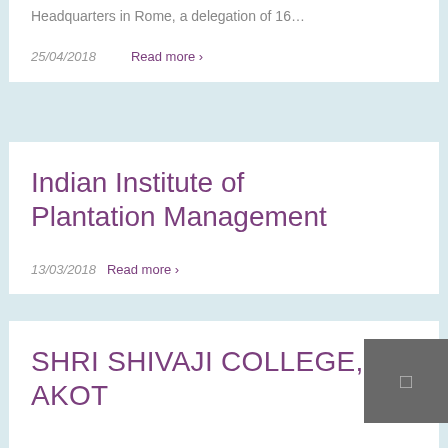Headquarters in Rome, a delegation of 16…
25/04/2018   Read more ›
Indian Institute of Plantation Management
13/03/2018   Read more ›
SHRI SHIVAJI COLLEGE, AKOT
22/02/2018   Read more ›